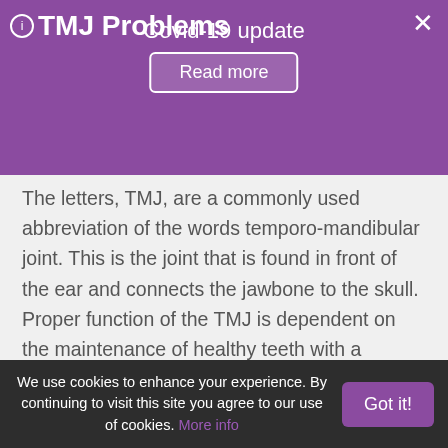TMJ Problems
Covid-19 update
Read more
The letters, TMJ, are a commonly used abbreviation of the words temporo-mandibular joint. This is the joint that is found in front of the ear and connects the jawbone to the skull. Proper function of the TMJ is dependent on the maintenance of healthy teeth with a properly balanced bite. When the TM Joint is not working properly, you may experience noise and/or discomfort as you open and close your mouth. You may experience discomfort in your jaw muscles as you chew and even when at rest. You may suffer with headaches and migraines. Treatment involves a thorough examination both intra-orally and extra-orally to determine the cause of the problem. The goal is to bring the TM joint and the muscles of the jaw into a comfortable and healthful
We use cookies to enhance your experience. By continuing to visit this site you agree to our use of cookies. More info